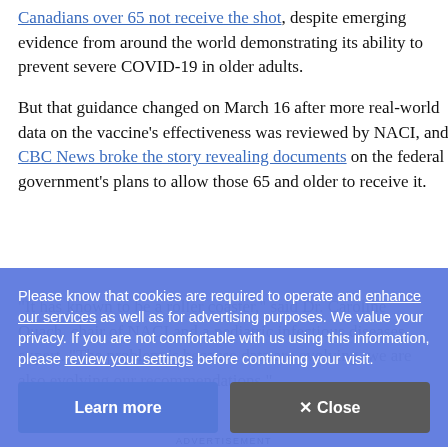Canadians over 65 not receive the shot, despite emerging evidence from around the world demonstrating its ability to prevent severe COVID-19 in older adults.
But that guidance changed on March 16 after more real-world data on the vaccine's effectiveness was reviewed by NACI, and CBC News broke the story revealing documents on the federal government's plans to allow those 65 and older to receive it.
Please know that cookies are required to operate and enhance our services as well as for advertising purposes. We value your privacy. If you are not comfortable with us using this information, please review your settings before continuing your visit.
"It has known to be a rapid all the required to operate and enhance our services… like a roller coaster," said Dr. Caroline Quach, chair of NACI and a pediatric infectious diseases expert. "The problem is because data are evolving, we are also evolving our recommendations."
ADVERTISEMENT